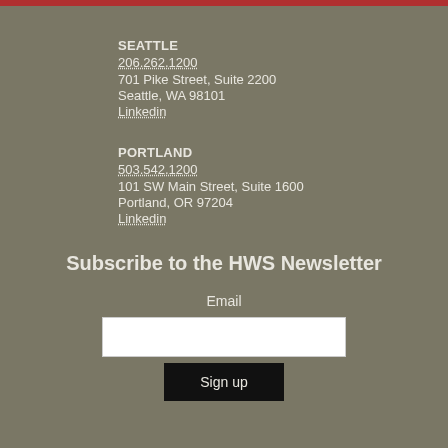SEATTLE
206.262.1200
701 Pike Street, Suite 2200
Seattle, WA 98101
Linkedin
PORTLAND
503.542.1200
101 SW Main Street, Suite 1600
Portland, OR 97204
Linkedin
Subscribe to the HWS Newsletter
Email
Sign up